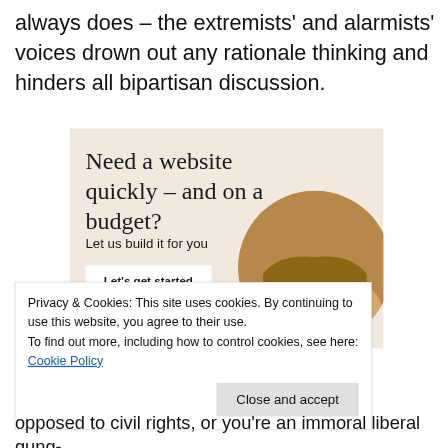always does – the extremists' and alarmists' voices drown out any rationale thinking and hinders all bipartisan discussion.
[Figure (infographic): Advertisement banner with beige/cream background. Heading: 'Need a website quickly – and on a budget?' Subheading: 'Let us build it for you'. A white button labeled 'Let’s get started'. A circular cropped photo of a person's hands working on a laptop/notebook.]
Privacy & Cookies: This site uses cookies. By continuing to use this website, you agree to their use.
To find out more, including how to control cookies, see here: Cookie Policy
Close and accept
opposed to civil rights, or you're an immoral liberal gung-